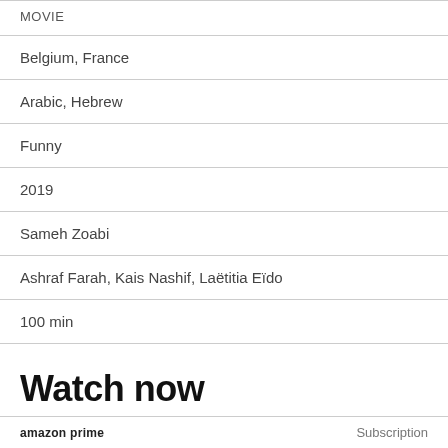MOVIE
Belgium, France
Arabic, Hebrew
Funny
2019
Sameh Zoabi
Ashraf Farah, Kais Nashif, Laëtitia Eïdo
100 min
Watch now
amazon prime   Subscription